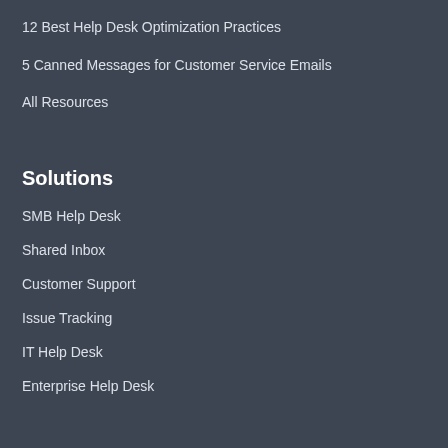12 Best Help Desk Optimization Practices
5 Canned Messages for Customer Service Emails
All Resources
Solutions
SMB Help Desk
Shared Inbox
Customer Support
Issue Tracking
IT Help Desk
Enterprise Help Desk
Quick Links